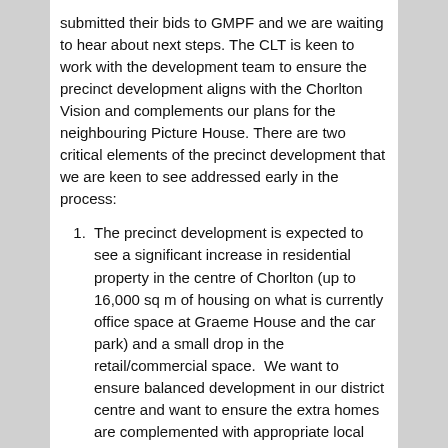submitted their bids to GMPF and we are waiting to hear about next steps. The CLT is keen to work with the development team to ensure the precinct development aligns with the Chorlton Vision and complements our plans for the neighbouring Picture House. There are two critical elements of the precinct development that we are keen to see addressed early in the process:
The precinct development is expected to see a significant increase in residential property in the centre of Chorlton (up to 16,000 sq m of housing on what is currently office space at Graeme House and the car park) and a small drop in the retail/commercial space.  We want to ensure balanced development in our district centre and want to ensure the extra homes are complemented with appropriate local public service and leisure/retail provision.
Our longer-term plans have always included an idea to create a new public square by closing the end of Nicolas Road onto Manchester Road. The principle